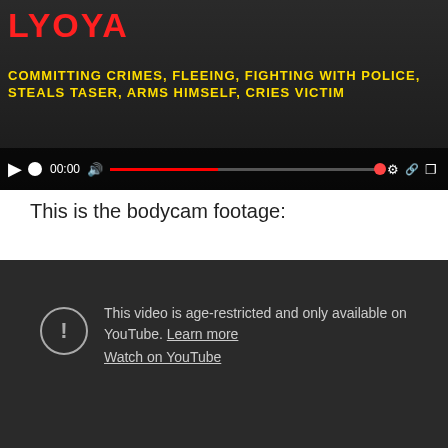[Figure (screenshot): Video thumbnail showing text 'LYOYA' in red and yellow text 'COMMITTING CRIMES, FLEEING, FIGHTING WITH POLICE, STEALS TASER, ARMS HIMSELF, CRIES VICTIM' with video player controls at bottom]
This is the bodycam footage:
[Figure (screenshot): Embedded YouTube video player showing age-restriction message: 'This video is age-restricted and only available on YouTube. Learn more' and 'Watch on YouTube' link, with a warning circle icon]